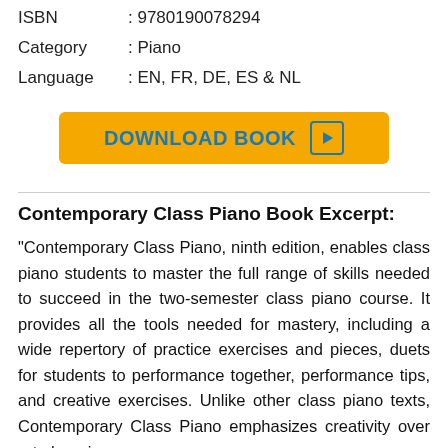ISBN : 9780190078294
Category : Piano
Language : EN, FR, DE, ES & NL
[Figure (other): Yellow download button with text 'DOWNLOAD BOOK' and a play icon]
Contemporary Class Piano Book Excerpt:
"Contemporary Class Piano, ninth edition, enables class piano students to master the full range of skills needed to succeed in the two-semester class piano course. It provides all the tools needed for mastery, including a wide repertory of practice exercises and pieces, duets for students to performance together, performance tips, and creative exercises. Unlike other class piano texts, Contemporary Class Piano emphasizes creativity over rote learning